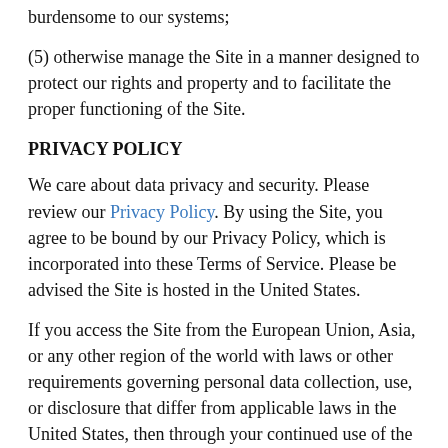burdensome to our systems;
(5) otherwise manage the Site in a manner designed to protect our rights and property and to facilitate the proper functioning of the Site.
PRIVACY POLICY
We care about data privacy and security. Please review our Privacy Policy. By using the Site, you agree to be bound by our Privacy Policy, which is incorporated into these Terms of Service. Please be advised the Site is hosted in the United States.
If you access the Site from the European Union, Asia, or any other region of the world with laws or other requirements governing personal data collection, use, or disclosure that differ from applicable laws in the United States, then through your continued use of the Site, you are transferring your data to the United States, and you expressly consent to have your data transferred to and processed in the United States.
[Further, we do not knowingly accept, request, or solicit